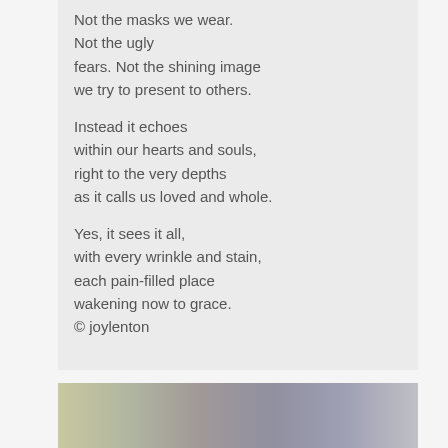Not the masks we wear.
Not the ugly
fears. Not the shining image
we try to present to others.

Instead it echoes
within our hearts and souls,
right to the very depths
as it calls us loved and whole.

Yes, it sees it all,
with every wrinkle and stain,
each pain-filled place
wakening now to grace.
© joylenton
[Figure (photo): A muted landscape or abstract image strip at the bottom of the page with soft olive, grey, and muted blue tones.]